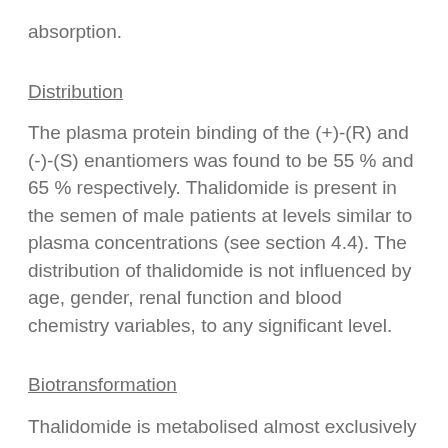absorption.
Distribution
The plasma protein binding of the (+)-(R) and (-)-(S) enantiomers was found to be 55 % and 65 % respectively. Thalidomide is present in the semen of male patients at levels similar to plasma concentrations (see section 4.4). The distribution of thalidomide is not influenced by age, gender, renal function and blood chemistry variables, to any significant level.
Biotransformation
Thalidomide is metabolised almost exclusively by non-enzymatic hydrolysis. In plasma, unchanged